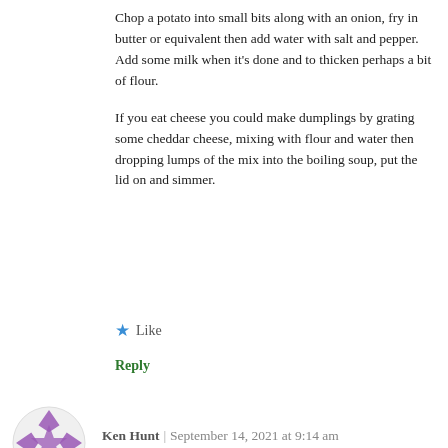Chop a potato into small bits along with an onion, fry in butter or equivalent then add water with salt and pepper. Add some milk when it's done and to thicken perhaps a bit of flour.
If you eat cheese you could make dumplings by grating some cheddar cheese, mixing with flour and water then dropping lumps of the mix into the boiling soup, put the lid on and simmer.
★ Like
Reply
Ken Hunt | September 14, 2021 at 9:14 am
👍 0 👎 0 ℹ Rate This
Advertisements
[Figure (other): Victoria's Secret advertisement banner showing a woman with curly hair, VS logo, 'SHOP THE COLLECTION' text and 'SHOP NOW' button]